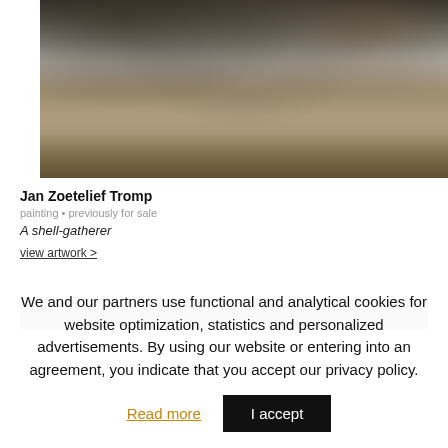[Figure (photo): Cropped bottom portion of an oil painting showing figures with a cart wheel in a snowy/muddy landscape, signed J. Zoetelief Tromp in lower right]
Jan Zoetelief Tromp
painting • previously for sale
A shell-gatherer
view artwork >
[Figure (photo): Top portion of another painting showing dark green foliage/trees]
We and our partners use functional and analytical cookies for website optimization, statistics and personalized advertisements. By using our website or entering into an agreement, you indicate that you accept our privacy policy.
Read more
I accept